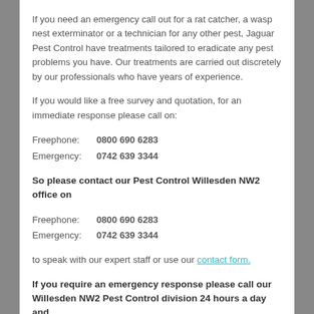If you need an emergency call out for a rat catcher, a wasp nest exterminator or a technician for any other pest, Jaguar Pest Control have treatments tailored to eradicate any pest problems you have. Our treatments are carried out discretely by our professionals who have years of experience.
If you would like a free survey and quotation, for an immediate response please call on:
Freephone: 0800 690 6283
Emergency: 0742 639 3344
So please contact our Pest Control Willesden NW2 office on
Freephone: 0800 690 6283
Emergency: 0742 639 3344
to speak with our expert staff or use our contact form.
If you require an emergency response please call our Willesden NW2 Pest Control division 24 hours a day and